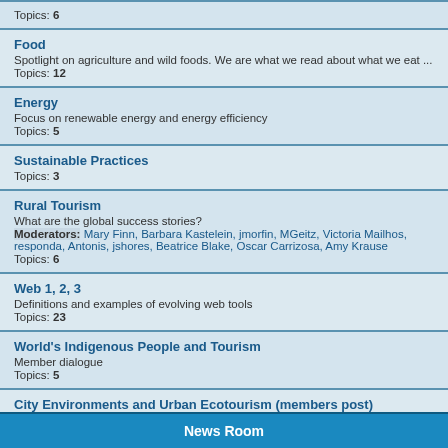Topics: 6
Food
Spotlight on agriculture and wild foods. We are what we read about what we eat ...
Topics: 12
Energy
Focus on renewable energy and energy efficiency
Topics: 5
Sustainable Practices
Topics: 3
Rural Tourism
What are the global success stories?
Moderators: Mary Finn, Barbara Kastelein, jmorfin, MGeitz, Victoria Mailhos, responda, Antonis, jshores, Beatrice Blake, Oscar Carrizosa, Amy Krause
Topics: 6
Web 1, 2, 3
Definitions and examples of evolving web tools
Topics: 23
World's Indigenous People and Tourism
Member dialogue
Topics: 5
City Environments and Urban Ecotourism (members post)
What does the ecotourist do in the city?
Topics: 7
News Room